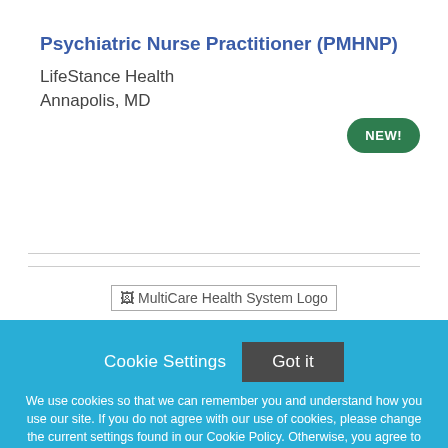Psychiatric Nurse Practitioner (PMHNP)
LifeStance Health
Annapolis, MD
NEW!
[Figure (logo): MultiCare Health System Logo placeholder image]
Cookie Settings  Got it
We use cookies so that we can remember you and understand how you use our site. If you do not agree with our use of cookies, please change the current settings found in our Cookie Policy. Otherwise, you agree to the use of the cookies as they are currently set.